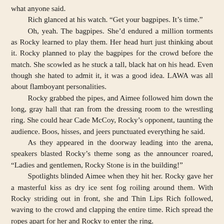what anyone said.
	Rich glanced at his watch. “Get your bagpipes. It’s time.”
	Oh, yeah. The bagpipes. She’d endured a million torments as Rocky learned to play them. Her head hurt just thinking about it. Rocky planned to play the bagpipes for the crowd before the match. She scowled as he stuck a tall, black hat on his head. Even though she hated to admit it, it was a good idea. LAWA was all about flamboyant personalities.
	Rocky grabbed the pipes, and Aimee followed him down the long, gray hall that ran from the dressing room to the wrestling ring. She could hear Cade McCoy, Rocky’s opponent, taunting the audience. Boos, hisses, and jeers punctuated everything he said.
	As they appeared in the doorway leading into the arena, speakers blasted Rocky’s theme song as the announcer roared, “Ladies and gentlemen, Rocky Stone is in the building!”
	Spotlights blinded Aimee when they hit her. Rocky gave her a masterful kiss as dry ice sent fog roiling around them. With Rocky striding out in front, she and Thin Lips Rich followed, waving to the crowd and clapping the entire time. Rich spread the ropes apart for her and Rocky to enter the ring.
	She strutted around, throwing kisses and motioning for the audience to stand up. The crowd went crazy when a wild swirl of bagpipe music filled the arena. They loved Rocky’s show. Clapping in unison, they cheered, “Rock-y. Rock-y. Rock-y.”
	With the focus off her, Aimee relaxed a little. Thank